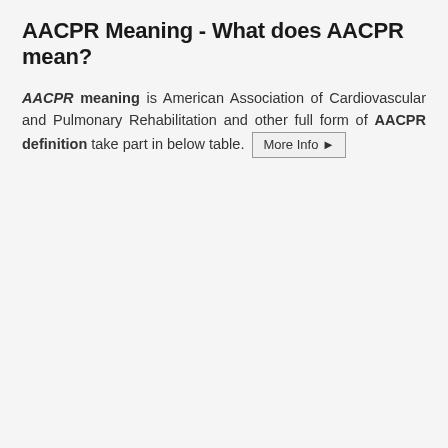AACPR Meaning - What does AACPR mean?
AACPR meaning is American Association of Cardiovascular and Pulmonary Rehabilitation and other full form of AACPR definition take part in below table. More Info ▶